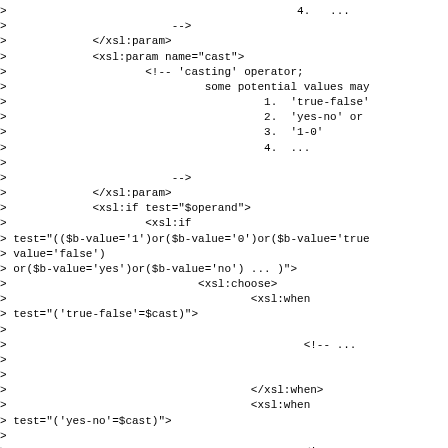XSL/XSLT code snippet showing xsl:param, xsl:if, xsl:choose, xsl:when, and xsl:otherwise elements with casting operator comments